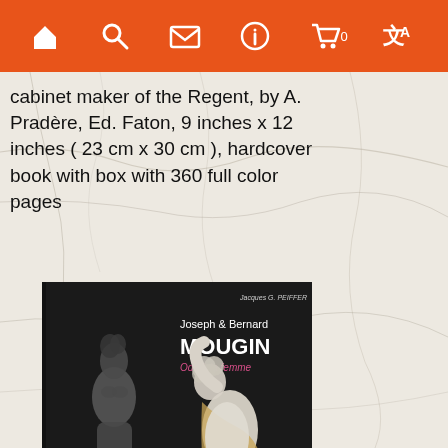[Figure (screenshot): Orange navigation bar with icons: home, search, mail, info, cart (with 0), and translate]
cabinet maker of the Regent, by A. Pradère, Ed. Faton, 9 inches x 12 inches ( 23 cm x 30 cm ), hardcover book with box with 360 full color pages
[Figure (photo): Book cover of 'Joseph & Bernard MOUGIN - Ode à la femme' by Jacques G. Peiffer, showing two sculptures of female figures against a dark background]